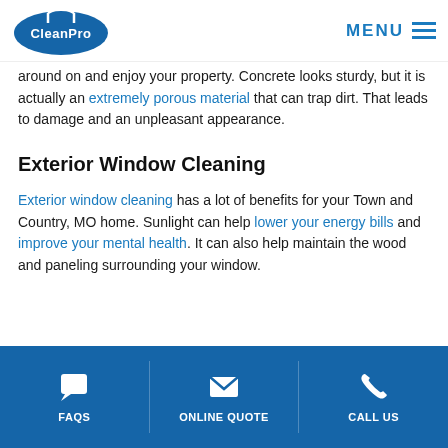CleanPro — MENU
around on and enjoy your property. Concrete looks sturdy, but it is actually an extremely porous material that can trap dirt. That leads to damage and an unpleasant appearance.
Exterior Window Cleaning
Exterior window cleaning has a lot of benefits for your Town and Country, MO home. Sunlight can help lower your energy bills and improve your mental health. It can also help maintain the wood and paneling surrounding your window.
FAQS   ONLINE QUOTE   CALL US